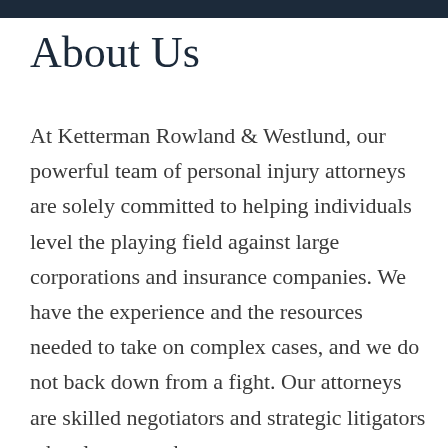About Us
At Ketterman Rowland & Westlund, our powerful team of personal injury attorneys are solely committed to helping individuals level the playing field against large corporations and insurance companies. We have the experience and the resources needed to take on complex cases, and we do not back down from a fight. Our attorneys are skilled negotiators and strategic litigators who always go the